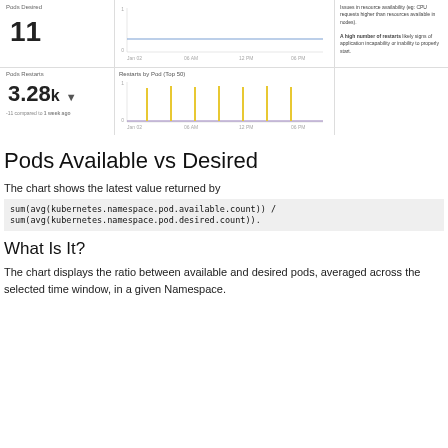[Figure (screenshot): Dashboard screenshot showing Pods Desired metric (value: 11) with a flat line chart, and Pods Restarts metric (value: 3.28k, -11 compared to 1 week ago) with a spiky line chart showing periodic restarts. Also contains a text panel with advisory information.]
Pods Available vs Desired
The chart shows the latest value returned by
What Is It?
The chart displays the ratio between available and desired pods, averaged across the selected time window, in a given Namespace.